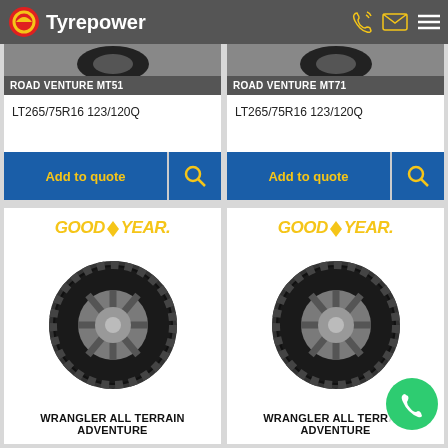Tyrepower
ROAD VENTURE MT51
LT265/75R16 123/120Q
Add to quote
ROAD VENTURE MT71
LT265/75R16 123/120Q
Add to quote
[Figure (photo): Goodyear Wrangler All Terrain Adventure tire on alloy wheel - left card]
WRANGLER ALL TERRAIN ADVENTURE
[Figure (photo): Goodyear Wrangler All Terrain Adventure tire on alloy wheel - right card]
WRANGLER ALL TERRAIN ADVENTURE